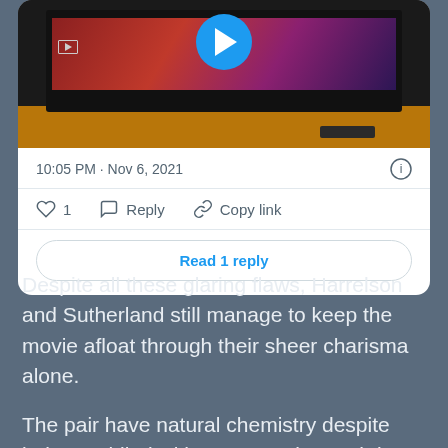[Figure (screenshot): Twitter/social media card showing a TV on a wooden stand with a video play button overlay, timestamp '10:05 PM · Nov 6, 2021', info icon, action buttons (like with count 1, Reply, Copy link), and a 'Read 1 reply' button]
Despite all these glaring flaws, Harrelson and Sutherland still manage to keep the movie afloat through their sheer charisma alone.
The pair have natural chemistry despite being saddled with a poor script, and do come across as being believable modern cowboys instead of